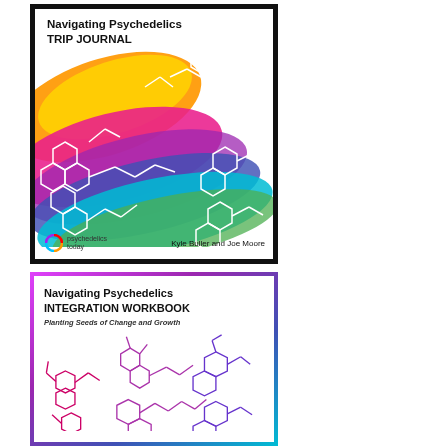[Figure (illustration): Book cover: 'Navigating Psychedelics TRIP JOURNAL' with colorful paint-brush splash background showing molecular structures (chemical diagrams in white outlines), logo of Psychedelics Today and authors Kyle Buller and Joe Moore at the bottom.]
[Figure (illustration): Book cover: 'Navigating Psychedelics INTEGRATION WORKBOOK – Planting Seeds of Change and Growth' with white background, multicolor gradient border (purple to cyan), and pink/purple molecular structure diagrams.]